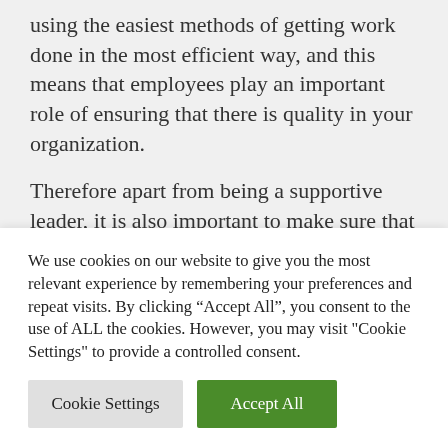using the easiest methods of getting work done in the most efficient way, and this means that employees play an important role of ensuring that there is quality in your organization.
Therefore apart from being a supportive leader, it is also important to make sure that your employees are well empowered, this will make sure that you earn the trust of your employees where your employees will be able to approach you in favor of providing you with the solution of improving the
We use cookies on our website to give you the most relevant experience by remembering your preferences and repeat visits. By clicking "Accept All", you consent to the use of ALL the cookies. However, you may visit "Cookie Settings" to provide a controlled consent.